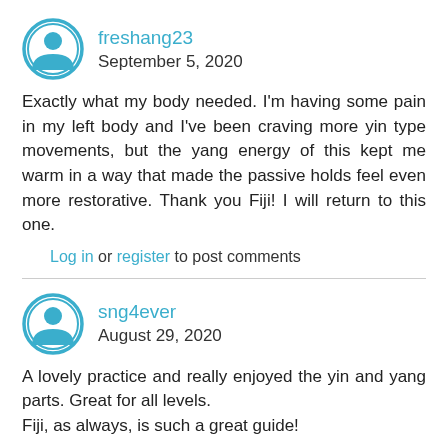[Figure (illustration): User avatar icon: circular teal/blue outline with a person silhouette inside, for user freshang23]
freshang23
September 5, 2020
Exactly what my body needed. I'm having some pain in my left body and I've been craving more yin type movements, but the yang energy of this kept me warm in a way that made the passive holds feel even more restorative. Thank you Fiji! I will return to this one.
Log in or register to post comments
[Figure (illustration): User avatar icon: circular teal/blue outline with a person silhouette inside, for user sng4ever]
sng4ever
August 29, 2020
A lovely practice and really enjoyed the yin and yang parts. Great for all levels.
Fiji, as always, is such a great guide!